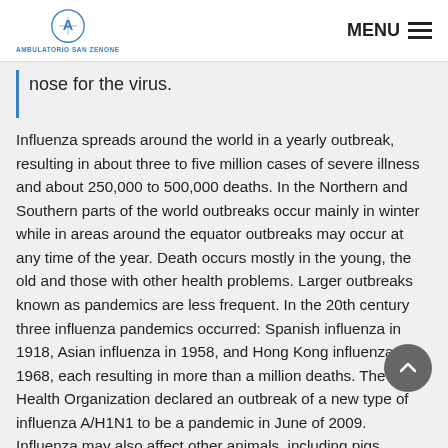AMBULATORIO SAN ZENONE | MENU
nose for the virus.
Influenza spreads around the world in a yearly outbreak, resulting in about three to five million cases of severe illness and about 250,000 to 500,000 deaths. In the Northern and Southern parts of the world outbreaks occur mainly in winter while in areas around the equator outbreaks may occur at any time of the year. Death occurs mostly in the young, the old and those with other health problems. Larger outbreaks known as pandemics are less frequent. In the 20th century three influenza pandemics occurred: Spanish influenza in 1918, Asian influenza in 1958, and Hong Kong influenza in 1968, each resulting in more than a million deaths. The World Health Organization declared an outbreak of a new type of influenza A/H1N1 to be a pandemic in June of 2009. Influenza may also affect other animals, including pigs, horses and birds.
TREATMENT